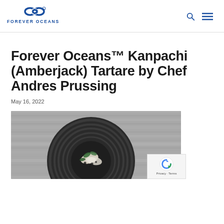[Figure (logo): Forever Oceans logo with infinity symbol and text FOREVER OCEANS in blue]
Forever Oceans
Forever Oceans™ Kanpachi (Amberjack) Tartare by Chef Andres Prussing
May 16, 2022
[Figure (photo): Overhead photo of a dark plate with fish tartare garnished with herbs and vegetables, on a grey wooden surface]